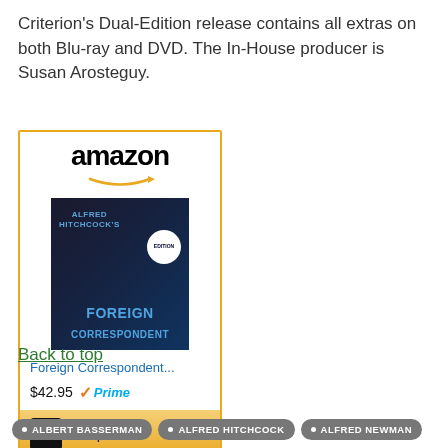Criterion's Dual-Edition release contains all extras on both Blu-ray and DVD. The In-House producer is Susan Arosteguy.
[Figure (other): Amazon product widget showing Foreign Correspondent Blu-ray/DVD, priced at $42.95 with Prime, with a Shop now button]
Back to top
ALBERT BASSERMAN
ALFRED HITCHCOCK
ALFRED NEWMAN